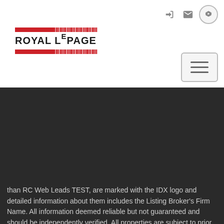[Figure (logo): Royal LePage logo with red horizontal bars and barcode-style lines]
[Figure (other): Hamburger menu button (three horizontal lines) in rounded rectangle]
than RC Web Leads TEST, are marked with the IDX logo and detailed information about them includes the Listing Broker's Firm Name. All information deemed reliable but not guaranteed and should be independently verified. All properties are subject to prior sale, change   Show More...
[Figure (logo): Michigan Regional Information Center logo showing green map of Michigan with blue house icon and circular text]
Listing information is provided